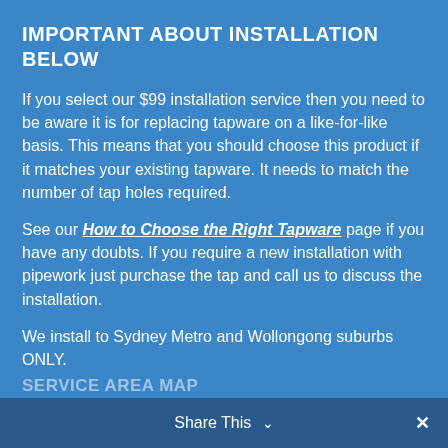IMPORTANT ABOUT INSTALLATION BELOW
If you select our $99 installation service then you need to be aware it is for replacing tapware on a like-for-like basis. This means that you should choose this product if it matches your existing tapware. It needs to match the number of tap holes required.
See our How to Choose the Right Tapware page if you have any doubts. If you require a new installation with pipework just purchase the tap and call us to discuss the installation.
We install to Sydney Metro and Wollongong suburbs ONLY.
Share This  ×